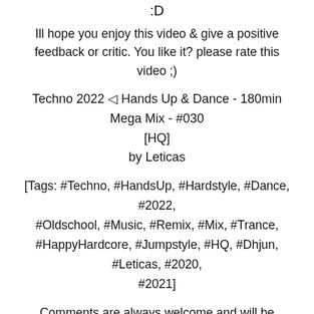:D
Ill hope you enjoy this video & give a positive feedback or critic. You like it? please rate this video ;)
Techno 2022 ◁ Hands Up & Dance - 180min Mega Mix - #030 [HQ]
by Leticas
[Tags: #Techno, #HandsUp, #Hardstyle, #Dance, #2022, #Oldschool, #Music, #Remix, #Mix, #Trance, #HappyHardcore, #Jumpstyle, #HQ, #Dhjun, #Leticas, #2020, #2021]
Comments are always welcome and will be answered as soon as possible.